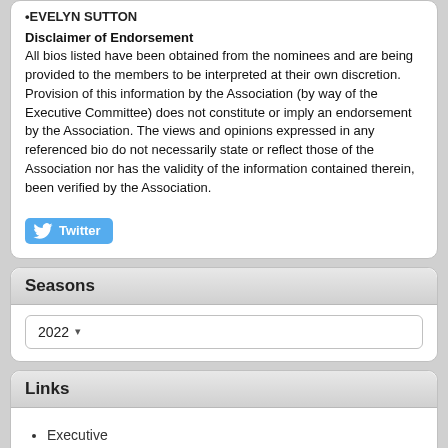•EVELYN SUTTON
Disclaimer of Endorsement
All bios listed have been obtained from the nominees and are being provided to the members to be interpreted at their own discretion. Provision of this information by the Association (by way of the Executive Committee) does not constitute or imply an endorsement by the Association. The views and opinions expressed in any referenced bio do not necessarily state or reflect those of the Association nor has the validity of the information contained therein, been verified by the Association.
[Figure (other): Twitter button - blue rounded rectangle with Twitter bird icon and 'Twitter' text label]
Seasons
2022 ▾
Links
Executive
Governing Documents